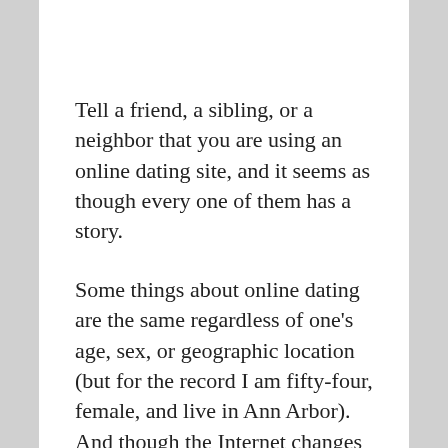Tell a friend, a sibling, or a neighbor that you are using an online dating site, and it seems as though every one of them has a story.
Some things about online dating are the same regardless of one's age, sex, or geographic location (but for the record I am fifty-four, female, and live in Ann Arbor). And though the Internet changes the way dates